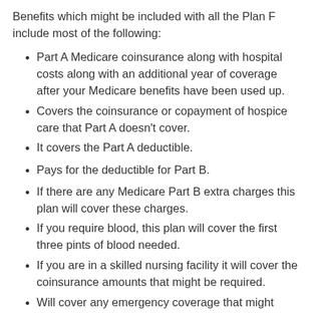Benefits which might be included with all the Plan F include most of the following:
Part A Medicare coinsurance along with hospital costs along with an additional year of coverage after your Medicare benefits have been used up.
Covers the coinsurance or copayment of hospice care that Part A doesn't cover.
It covers the Part A deductible.
Pays for the deductible for Part B.
If there are any Medicare Part B extra charges this plan will cover these charges.
If you require blood, this plan will cover the first three pints of blood needed.
If you are in a skilled nursing facility it will cover the coinsurance amounts that might be required.
Will cover any emergency coverage that might